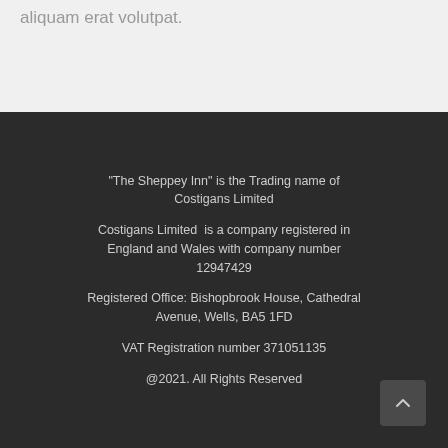aliquam erat volutpat.
"The Sheppey Inn" is the Trading name of Costigans Limited

Costigans Limited  is a company registered in England and Wales with company number 12947429

Registered Office: Bishopbrook House, Cathedral Avenue, Wells, BA5 1FD

VAT Registration number 371051135

@2021. All Rights Reserved